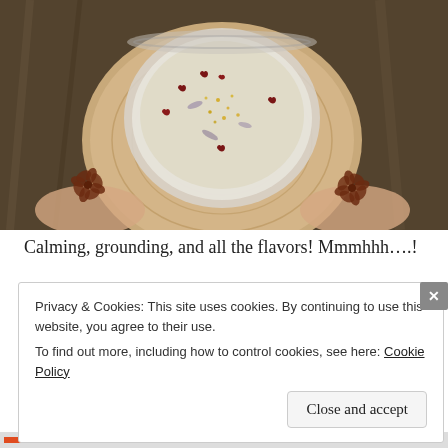[Figure (photo): Top-down view of a creamy drink in a glass bowl garnished with small red heart-shaped chocolates and yellow pollen/spice granules, placed on a wooden slice coaster. Star anise spices visible around the coaster on a wooden surface. Hands holding the coaster.]
Calming, grounding, and all the flavors! Mmmhhh….!
Privacy & Cookies: This site uses cookies. By continuing to use this website, you agree to their use.
To find out more, including how to control cookies, see here: Cookie Policy
Close and accept